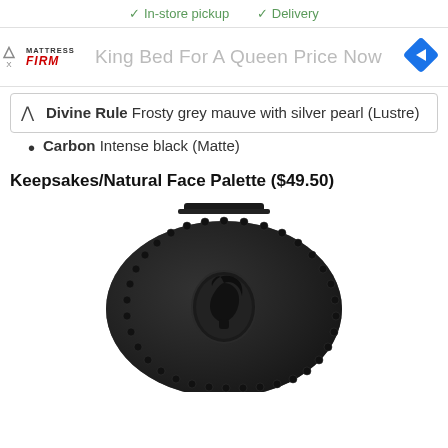✓ In-store pickup  ✓ Delivery
[Figure (other): Mattress Firm advertisement banner with logo and navigation icon, text: King Bed For A Queen Price Now]
Divine Rule Frosty grey mauve with silver pearl (Lustre)
Carbon Intense black (Matte)
Keepsakes/Natural Face Palette ($49.50)
[Figure (photo): A dark black glittery oval compact palette with a decorative cameo portrait medallion on the front, beaded border detail around the edge]